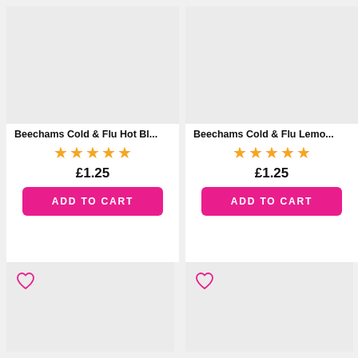[Figure (screenshot): Product card for Beechams Cold & Flu Hot Bl... with 4 gold stars, price £1.25, and pink ADD TO CART button]
Beechams Cold & Flu Hot Bl...
★★★★★
£1.25
ADD TO CART
[Figure (screenshot): Product card for Beechams Cold & Flu Lemo... with 4 gold stars, price £1.25, and pink ADD TO CART button]
Beechams Cold & Flu Lemo...
★★★★★
£1.25
ADD TO CART
[Figure (screenshot): Lower product card placeholder with pink heart/wishlist icon, grey image area]
[Figure (screenshot): Lower product card placeholder with pink heart/wishlist icon, grey image area]